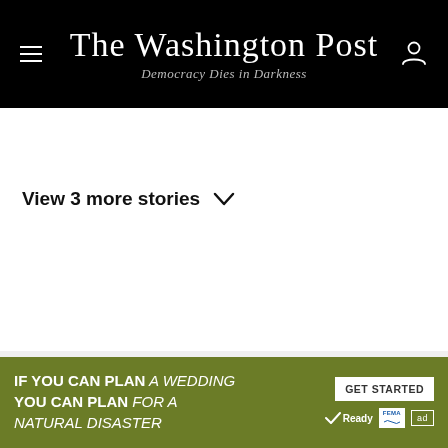The Washington Post — Democracy Dies in Darkness
View 3 more stories
[Figure (screenshot): Advertisement banner: 'IF YOU CAN PLAN A WEDDING YOU CAN PLAN FOR A NATURAL DISASTER' with GET STARTED button, Ready.gov and FEMA logos, and Ad indicator]